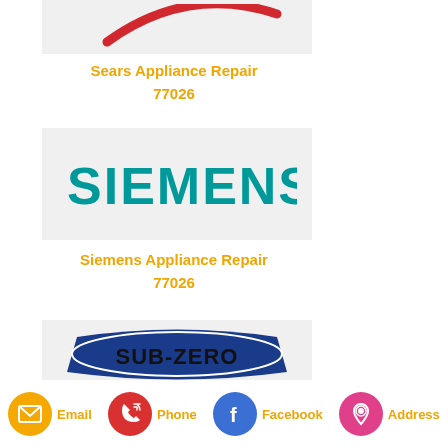[Figure (logo): Sears logo with red swoosh on light gray background]
Sears Appliance Repair
77026
[Figure (logo): Siemens logo in teal/green text on light gray background]
Siemens Appliance Repair
77026
[Figure (logo): Sub-Zero logo with blue banner and bold black text on light gray background]
Email   Phone   Facebook   Address